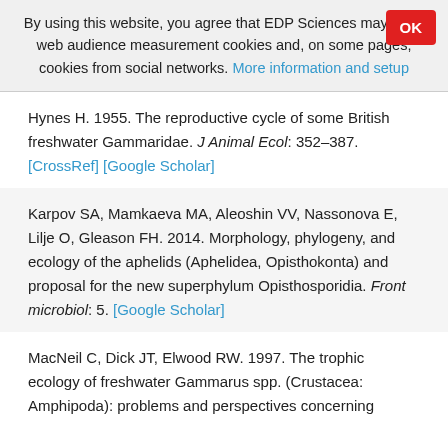By using this website, you agree that EDP Sciences may store web audience measurement cookies and, on some pages, cookies from social networks. More information and setup
Hynes H. 1955. The reproductive cycle of some British freshwater Gammaridae. J Animal Ecol: 352–387. [CrossRef] [Google Scholar]
Karpov SA, Mamkaeva MA, Aleoshin VV, Nassonova E, Lilje O, Gleason FH. 2014. Morphology, phylogeny, and ecology of the aphelids (Aphelidea, Opisthokonta) and proposal for the new superphylum Opisthosporidia. Front microbiol: 5. [Google Scholar]
MacNeil C, Dick JT, Elwood RW. 1997. The trophic ecology of freshwater Gammarus spp. (Crustacea: Amphipoda): problems and perspectives concerning